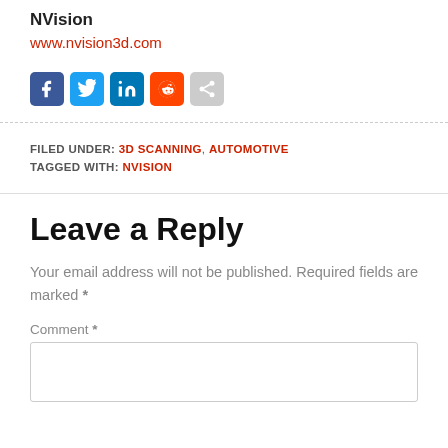NVision
www.nvision3d.com
[Figure (other): Social sharing buttons: Facebook, Twitter, LinkedIn, Reddit, Share]
FILED UNDER: 3D SCANNING, AUTOMOTIVE
TAGGED WITH: NVISION
Leave a Reply
Your email address will not be published. Required fields are marked *
Comment *